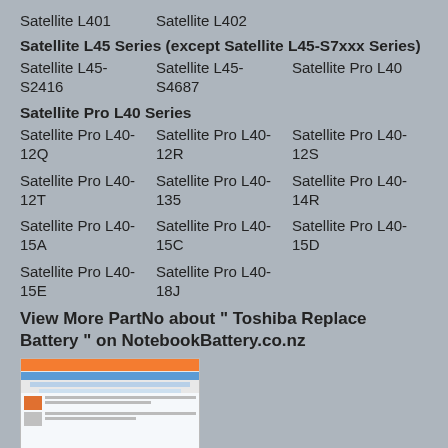Satellite L401    Satellite L402
Satellite L45 Series (except Satellite L45-S7xxx Series)
Satellite L45-S2416
Satellite L45-S4687
Satellite Pro L40
Satellite Pro L40 Series
Satellite Pro L40-12Q
Satellite Pro L40-12R
Satellite Pro L40-12S
Satellite Pro L40-12T
Satellite Pro L40-135
Satellite Pro L40-14R
Satellite Pro L40-15A
Satellite Pro L40-15C
Satellite Pro L40-15D
Satellite Pro L40-15E
Satellite Pro L40-18J
View More PartNo about " Toshiba Replace Battery " on NotebookBattery.co.nz
[Figure (screenshot): Screenshot of NotebookBattery.co.nz website showing laptop battery products]